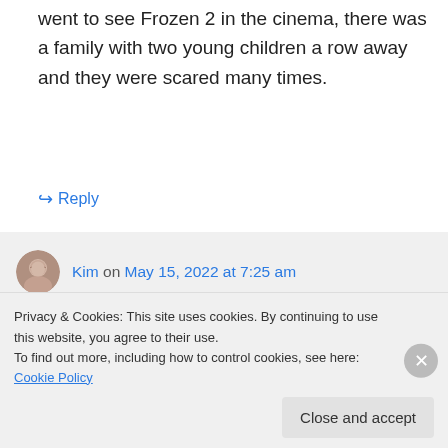went to see Frozen 2 in the cinema, there was a family with two young children a row away and they were scared many times.
↳ Reply
Kim on May 15, 2022 at 7:25 am
Thanks for your comment, fangirl! There is some range here for sure – my aim is to give parents all the info so they can skew
Privacy & Cookies: This site uses cookies. By continuing to use this website, you agree to their use.
To find out more, including how to control cookies, see here: Cookie Policy
Close and accept